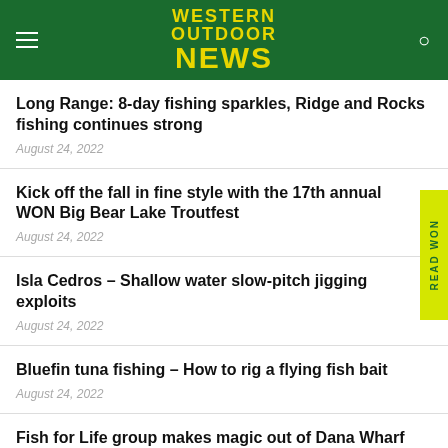WESTERN OUTDOOR NEWS
Long Range: 8-day fishing sparkles, Ridge and Rocks fishing continues strong
August 24, 2022
Kick off the fall in fine style with the 17th annual WON Big Bear Lake Troutfest
August 24, 2022
Isla Cedros – Shallow water slow-pitch jigging exploits
August 24, 2022
Bluefin tuna fishing – How to rig a flying fish bait
August 24, 2022
Fish for Life group makes magic out of Dana Wharf Sportfishing
August 24, 2022
Trout fishing – Flay that two-rod stamp and deploy a